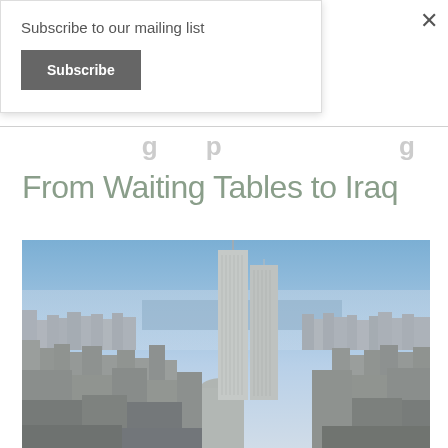Subscribe to our mailing list
Subscribe
From Waiting Tables to Iraq
[Figure (photo): Aerial photograph of New York City skyline featuring the Twin Towers (World Trade Center) prominently in the center, with the Manhattan cityscape, East River, and blue sky in the background.]